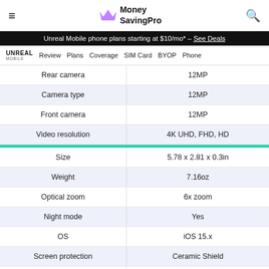Money SavingPro
Unreal Mobile phone plans starting at $10/mo* - See Deals
UNREAL MOBILE | Review | Plans | Coverage | SIM Card | BYOP | Phone
| Feature | Value |
| --- | --- |
| Rear camera | 12MP |
| Camera type | 12MP |
| Front camera | 12MP |
| Video resolution | 4K UHD, FHD, HD |
| Size | 5.78 x 2.81 x 0.3in |
| Weight | 7.16oz |
| Optical zoom | 6x zoom |
| Night mode | Yes |
| OS | iOS 15.x |
| Screen protection | Ceramic Shield |
| Water resistant | IP68 |
| Wireless charging | Yes |